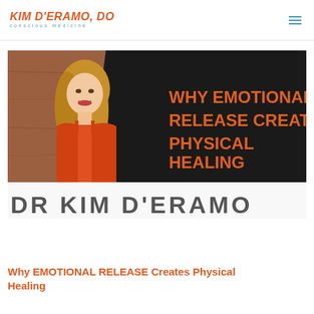KIM D'ERAMO, DO — conscious medicine
[Figure (photo): Video thumbnail showing Dr. Kim D'Eramo (blonde woman in orange dress) on the left against a wood background, and a dark panel on the right with bold orange text reading 'WHY EMOTIONAL RELEASE CREATES PHYSICAL HEALING'. Below the thumbnail is a decorative text graphic reading 'DR KIM D'ERAMO' in collage-style letters.]
Why EMOTIONAL RELEASE Creates Physical Healing